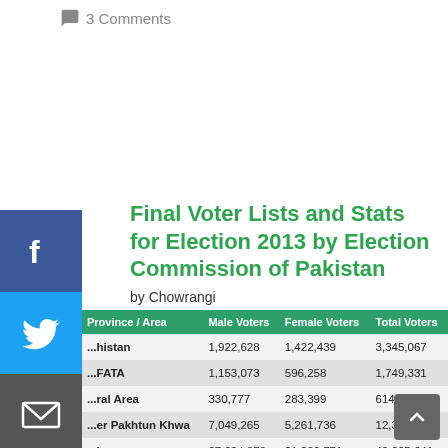3 Comments
Final Voter Lists and Stats for Election 2013 by Election Commission of Pakistan
by Chowrangi
| Province / Area | Male Voters | Female Voters | Total Voters |
| --- | --- | --- | --- |
| ...histan | 1,922,628 | 1,422,439 | 3,345,067 |
| ...FATA | 1,153,073 | 596,258 | 1,749,331 |
| ...ral Area | 330,777 | 283,399 | 614,176 |
| ...er Pakhtun Khwa | 7,049,265 | 5,261,736 | 12,311,001 |
| ...b | 27,624,870 | 21,380,771 | 49,005,641 |
| ... | 10,335,800 | 8,377,773 | 18,713,573 |